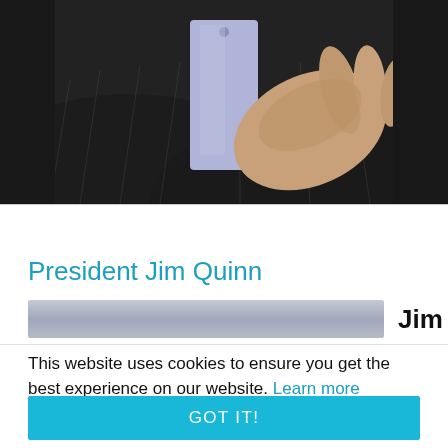[Figure (photo): Person in dark pinstripe suit with light blue/purple shirt, gesturing with hand toward viewer, cropped at chest level]
President Jim Quinn
[Figure (other): Progress bar UI element showing partial fill with 'Jim' text label on right]
This website uses cookies to ensure you get the best experience on our website. Learn more
GOT IT!